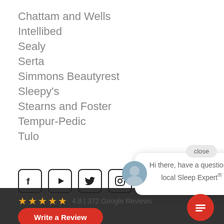Chattam and Wells
Intellibed
Sealy
Serta
Simmons Beautyrest
Sleepy's
Stearns and Foster
Tempur-Pedic
Tulo
[Figure (screenshot): Chat popup overlay with avatar, message 'Hi there, have a question? Text a local Sleep Expert® here.' and close button. Social media icons (Facebook, YouTube, Twitter, Instagram). Star rating 4.8 | 372 Google Reviews. Write a Review button. Red chat FAB button.]